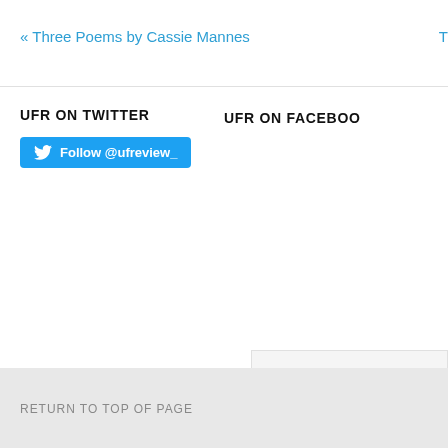« Three Poems by Cassie Mannes
T
UFR ON TWITTER
[Figure (other): Twitter Follow button with bird icon reading 'Follow @ufreview_']
UFR ON FACEBOOK
UFR on Facebook
RETURN TO TOP OF PAGE